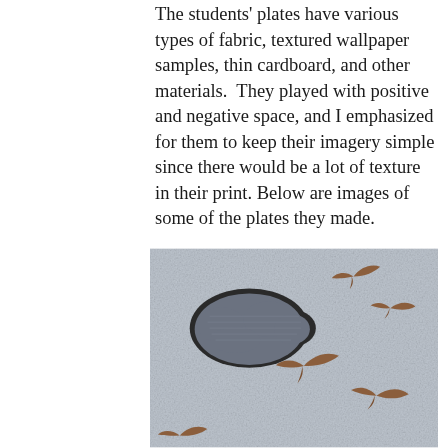The students' plates have various types of fabric, textured wallpaper samples, thin cardboard, and other materials.  They played with positive and negative space, and I emphasized for them to keep their imagery simple since there would be a lot of texture in their print. Below are images of some of the plates they made.
[Figure (photo): A student's printing plate showing a dark gray fabric cloud shape with a black outline on a light gray textured background, with several brown bird silhouettes in flight scattered around the composition.]